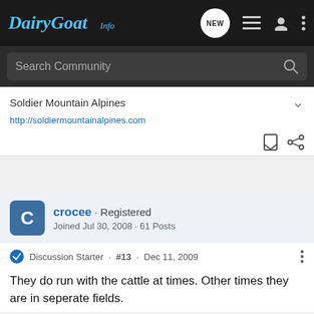DairyGoat Info
Search Community
Soldier Mountain Alpines
http://soldiermountainalpines.com
crocee · Registered
Joined Jul 30, 2008 · 61 Posts
Discussion Starter · #13 · Dec 11, 2009
They do run with the cattle at times. Other times they are in seperate fields.
[Figure (screenshot): Iranian advertisement banner with orange button and Persian text]